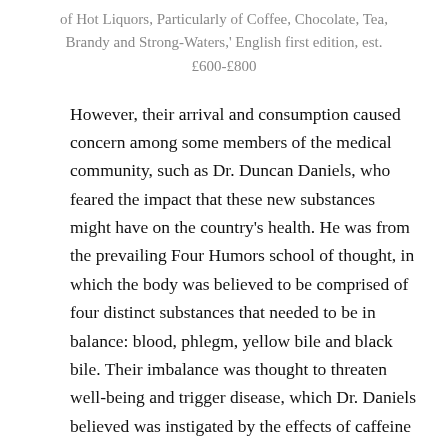of Hot Liquors, Particularly of Coffee, Chocolate, Tea, Brandy and Strong-Waters,' English first edition, est. £600-£800
However, their arrival and consumption caused concern among some members of the medical community, such as Dr. Duncan Daniels, who feared the impact that these new substances might have on the country's health. He was from the prevailing Four Humors school of thought, in which the body was believed to be comprised of four distinct substances that needed to be in balance: blood, phlegm, yellow bile and black bile. Their imbalance was thought to threaten well-being and trigger disease, which Dr. Daniels believed was instigated by the effects of caffeine and alcohol.